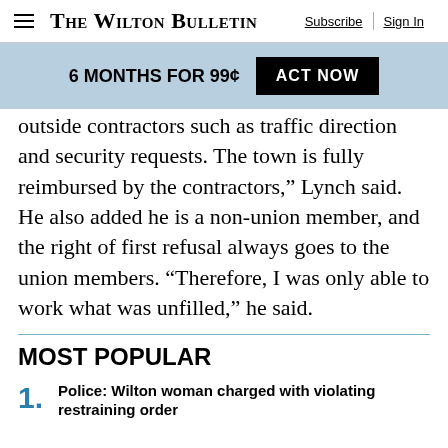The Wilton Bulletin — Subscribe | Sign In
6 MONTHS FOR 99¢ — ACT NOW
outside contractors such as traffic direction and security requests. The town is fully reimbursed by the contractors,” Lynch said. He also added he is a non-union member, and the right of first refusal always goes to the union members. “Therefore, I was only able to work what was unfilled,” he said.
MOST POPULAR
Police: Wilton woman charged with violating restraining order